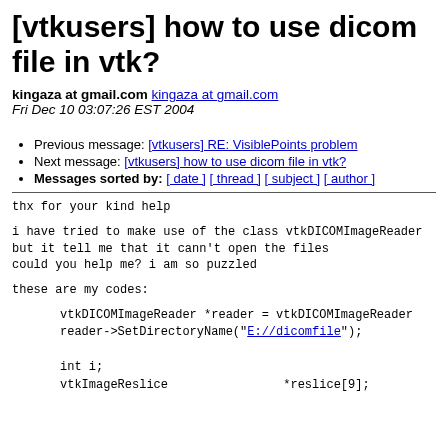[vtkusers] how to use dicom file in vtk?
kingaza at gmail.com kingaza at gmail.com
Fri Dec 10 03:07:26 EST 2004
Previous message: [vtkusers] RE: VisiblePoints problem
Next message: [vtkusers] how to use dicom file in vtk?
Messages sorted by: [ date ] [ thread ] [ subject ] [ author ]
thx for your kind help

i have tried to make use of the class vtkDICOMImageReader but it tell me that it cann't open the files
could you help me? i am so puzzled

these are my codes:
vtkDICOMImageReader *reader = vtkDICOMImageReader
reader->SetDirectoryName("E://dicomfile");

int i;
vtkImageReslice                 *reslice[9];